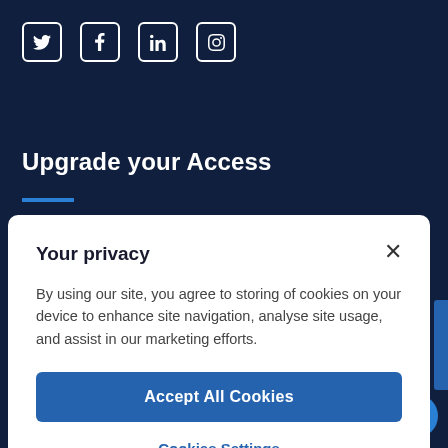[Figure (other): Social media icons: Twitter, Facebook, LinkedIn, Instagram — white outlined square icons on dark navy background]
Upgrade your Access
[Figure (other): Short blue horizontal decorative line under the title]
Your privacy
By using our site, you agree to storing of cookies on your device to enhance site navigation, analyse site usage, and assist in our marketing efforts.
Accept All Cookies
Cookies Settings